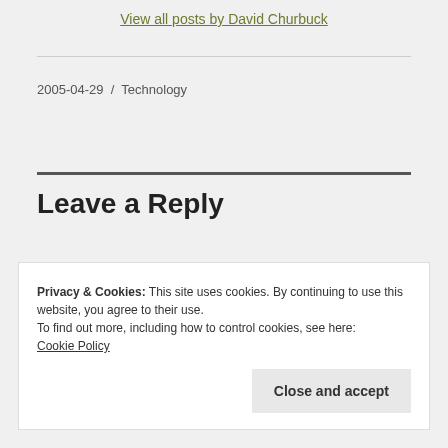View all posts by David Churbuck
2005-04-29  /  Technology
Leave a Reply
Privacy & Cookies: This site uses cookies. By continuing to use this website, you agree to their use.
To find out more, including how to control cookies, see here: Cookie Policy
Close and accept